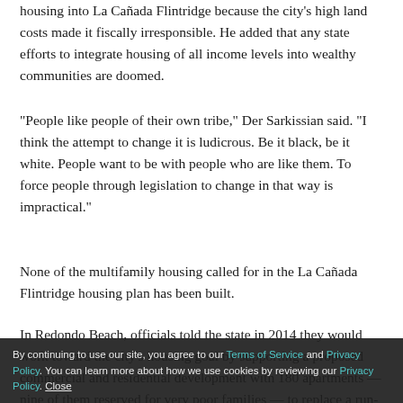housing into La Cañada Flintridge because the city's high land costs made it fiscally irresponsible. He added that any state efforts to integrate housing of all income levels into wealthy communities are doomed.
“People like people of their own tribe,” Der Sarkissian said. “I think the attempt to change it is ludicrous. Be it black, be it white. People want to be with people who are like them. To force people through legislation to change in that way is impractical.”
None of the multifamily housing called for in the La Cañada Flintridge housing plan has been built.
In Redondo Beach, officials told the state in 2014 they would work toward the city’s housing goal by supporting a proposed commercial and residential development with 180 apartments — nine of them reserved for very poor families — to replace a run-down strip mall and parking lot along the Pacific Coast Highway. The city zoned the land for that amount of housing.
By continuing to use our site, you agree to our Terms of Service and Privacy Policy. You can learn more about how we use cookies by reviewing our Privacy Policy. Close